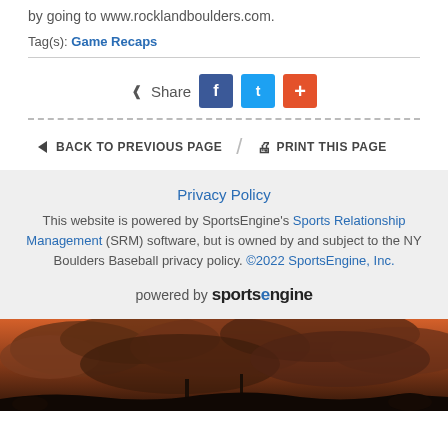by going to www.rocklandboulders.com.
Tag(s): Game Recaps
Share
← BACK TO PREVIOUS PAGE   /   🖨 PRINT THIS PAGE
Privacy Policy
This website is powered by SportsEngine's Sports Relationship Management (SRM) software, but is owned by and subject to the NY Boulders Baseball privacy policy. ©2022 SportsEngine, Inc.
powered by sportsengine
[Figure (photo): Dramatic sunset sky with dark storm clouds in orange and red tones, silhouettes of structures visible at bottom]